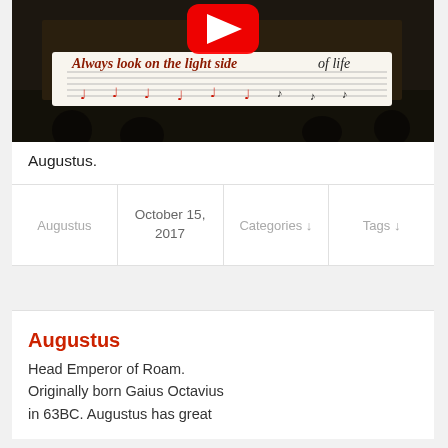[Figure (screenshot): Video thumbnail showing a scene with a banner reading 'Always look on the light side of life' with musical notes, and a YouTube play button overlay. Dark concert/performance background.]
Augustus.
| Augustus | October 15, 2017 | Categories ↓ | Tags ↓ |
| --- | --- | --- | --- |
Augustus
Head Emperor of Roam. Originally born Gaius Octavius in 63BC. Augustus has great